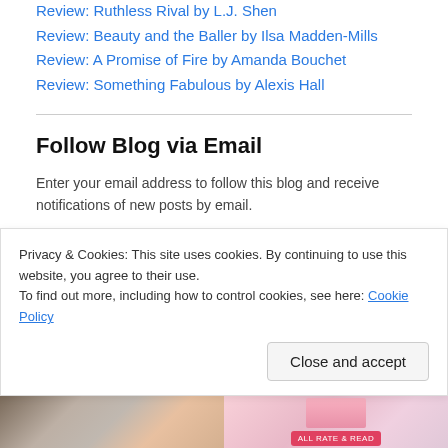Review: Ruthless Rival by L.J. Shen
Review: Beauty and the Baller by Ilsa Madden-Mills
Review: A Promise of Fire by Amanda Bouchet
Review: Something Fabulous by Alexis Hall
Follow Blog via Email
Enter your email address to follow this blog and receive notifications of new posts by email.
Enter your email address
Follow
Privacy & Cookies: This site uses cookies. By continuing to use this website, you agree to their use.
To find out more, including how to control cookies, see here: Cookie Policy
Close and accept
[Figure (photo): Bottom strip showing two book cover images partially visible]